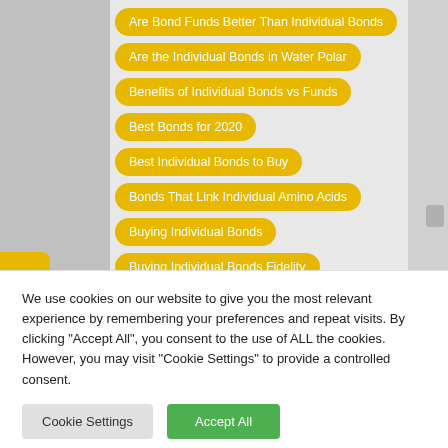Are Bond Funds Better Than Individual Bonds
Are the Individual Bonds in Water Polar
Benefits of Individual Bonds vs Funds
Best Bonds for 2020
Best Individual Bonds to Buy
Bonds That Link Individual Amino Acids
Buying Individual Bonds
Buying Individual Bonds Fidelity
We use cookies on our website to give you the most relevant experience by remembering your preferences and repeat visits. By clicking "Accept All", you consent to the use of ALL the cookies. However, you may visit "Cookie Settings" to provide a controlled consent.
Cookie Settings | Accept All